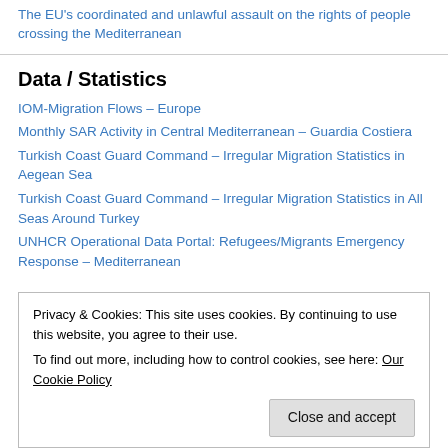The EU's coordinated and unlawful assault on the rights of people crossing the Mediterranean
Data / Statistics
IOM-Migration Flows – Europe
Monthly SAR Activity in Central Mediterranean – Guardia Costiera
Turkish Coast Guard Command – Irregular Migration Statistics in Aegean Sea
Turkish Coast Guard Command – Irregular Migration Statistics in All Seas Around Turkey
UNHCR Operational Data Portal: Refugees/Migrants Emergency Response – Mediterranean
Privacy & Cookies: This site uses cookies. By continuing to use this website, you agree to their use. To find out more, including how to control cookies, see here: Our Cookie Policy
NATO Operation Sea Guardian